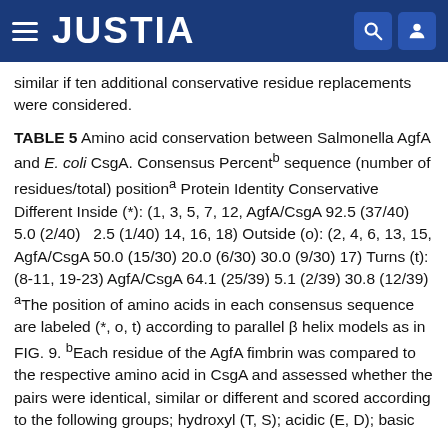JUSTIA
similar if ten additional conservative residue replacements were considered.
TABLE 5 Amino acid conservation between Salmonella AgfA and E. coli CsgA. Consensus Percent^b sequence (number of residues/total) position^a Protein Identity Conservative Different Inside (*): (1, 3, 5, 7, 12, AgfA/CsgA 92.5 (37/40)   5.0 (2/40)   2.5 (1/40) 14, 16, 18) Outside (o): (2, 4, 6, 13, 15, AgfA/CsgA 50.0 (15/30) 20.0 (6/30) 30.0 (9/30) 17) Turns (t): (8-11, 19-23) AgfA/CsgA 64.1 (25/39) 5.1 (2/39) 30.8 (12/39) ^aThe position of amino acids in each consensus sequence are labeled (*, o, t) according to parallel β helix models as in FIG. 9. ^bEach residue of the AgfA fimbrin was compared to the respective amino acid in CsgA and assessed whether the pairs were identical, similar or different and scored according to the following groups; hydroxyl (T, S); acidic (E, D); basic